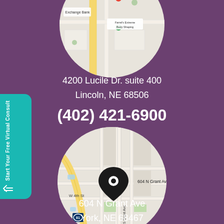[Figure (map): Google Maps circular crop showing MoMo Pizzeria & Ristorante, Exchange Bank, Farrel's Extreme Body Shaping, and surrounding streets in Lincoln NE]
4200 Lucile Dr. suite 400
Lincoln, NE 68506
(402) 421-6900
[Figure (map): Google Maps circular crop showing 604 N Grant Ave location with a pin marker, W 4th St, S Grant Ave, and US-81 highway in York NE]
604 N Grant Ave
York, NE 68467